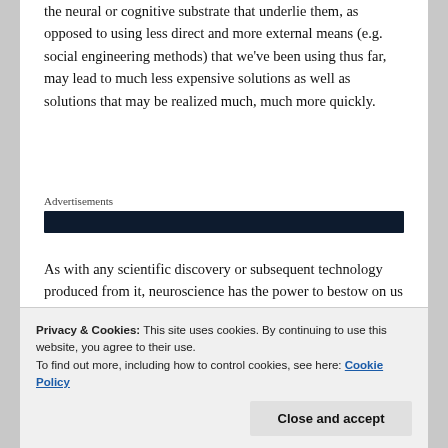the neural or cognitive substrate that underlie them, as opposed to using less direct and more external means (e.g. social engineering methods) that we've been using thus far, may lead to much less expensive solutions as well as solutions that may be realized much, much more quickly.
[Figure (other): Advertisements label with dark banner bar below it]
As with any scientific discovery or subsequent technology produced from it, neuroscience has the power to bestow on us both benefits as well as disadvantages.  I'm
Privacy & Cookies: This site uses cookies. By continuing to use this website, you agree to their use.
To find out more, including how to control cookies, see here: Cookie Policy
breakthrough discoveries were made before they were